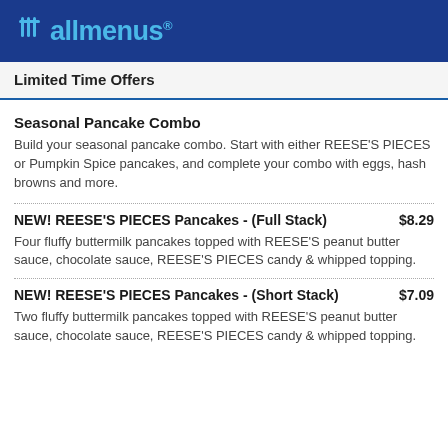allmenus
Limited Time Offers
Seasonal Pancake Combo
Build your seasonal pancake combo. Start with either REESE'S PIECES or Pumpkin Spice pancakes, and complete your combo with eggs, hash browns and more.
NEW! REESE'S PIECES Pancakes - (Full Stack)   $8.29
Four fluffy buttermilk pancakes topped with REESE'S peanut butter sauce, chocolate sauce, REESE'S PIECES candy & whipped topping.
NEW! REESE'S PIECES Pancakes - (Short Stack)   $7.09
Two fluffy buttermilk pancakes topped with REESE'S peanut butter sauce, chocolate sauce, REESE'S PIECES candy & whipped topping.